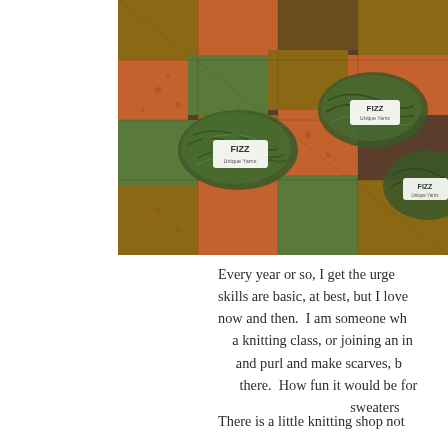[Figure (photo): A photo of green yarn skeins with white labels reading 'FIZZ' placed on a colorful patchwork quilt with autumn-toned fabric patches in orange, brown, green, and dark colors.]
Every year or so, I get the urge... skills are basic, at best, but I love... now and then. I am someone wh... a knitting class, or joining an in... and purl and make scarves, b... there. How fun it would be for... sweaters
There is a little knitting shop not...